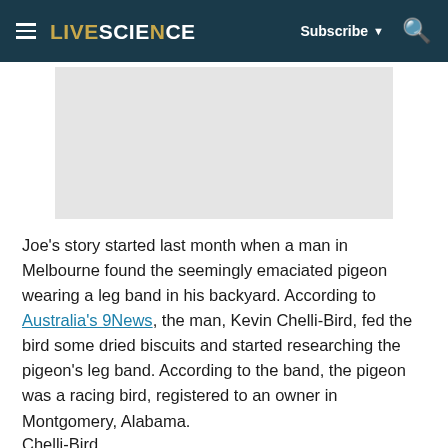LIVESCIENCE | Subscribe | Search
[Figure (other): Gray advertisement placeholder box]
Joe's story started last month when a man in Melbourne found the seemingly emaciated pigeon wearing a leg band in his backyard. According to Australia's 9News, the man, Kevin Chelli-Bird, fed the bird some dried biscuits and started researching the pigeon's leg band. According to the band, the pigeon was a racing bird, registered to an owner in Montgomery, Alabama.
Chelli-Bird...